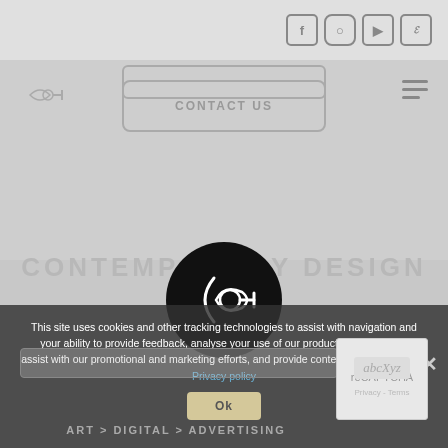[Figure (screenshot): Website screenshot showing social media icons (Facebook, Instagram, YouTube, and another icon) in top right corner]
[Figure (logo): Circular black logo with arrow/compass tool design in white]
CONTACT US
CONTEMPORARY DESIGN
This site uses cookies and other tracking technologies to assist with navigation and your ability to provide feedback, analyse your use of our products and services, assist with our promotional and marketing efforts, and provide content from third parties Privacy policy
Ok
ART > DIGITAL > ADVERTISING